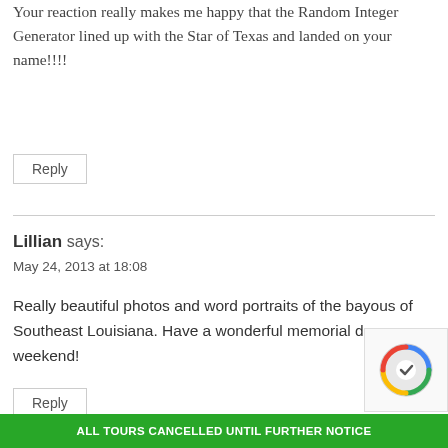Your reaction really makes me happy that the Random Integer Generator lined up with the Star of Texas and landed on your name!!!!
Reply
Lillian says:
May 24, 2013 at 18:08
Really beautiful photos and word portraits of the bayous of Southeast Louisiana. Have a wonderful memorial day weekend!
Reply
ALL TOURS CANCELLED UNTIL FURTHER NOTICE